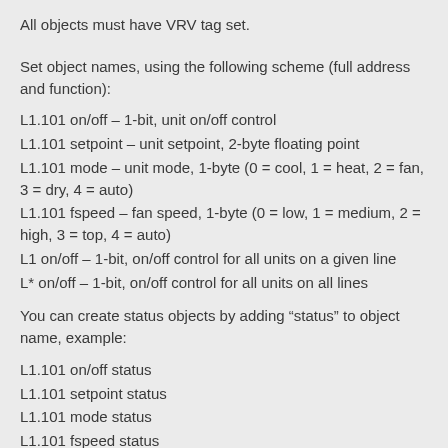All objects must have VRV tag set.
Set object names, using the following scheme (full address and function):
L1.101 on/off – 1-bit, unit on/off control
L1.101 setpoint – unit setpoint, 2-byte floating point
L1.101 mode – unit mode, 1-byte (0 = cool, 1 = heat, 2 = fan, 3 = dry, 4 = auto)
L1.101 fspeed – fan speed, 1-byte (0 = low, 1 = medium, 2 = high, 3 = top, 4 = auto)
L1 on/off – 1-bit, on/off control for all units on a given line
L* on/off – 1-bit, on/off control for all units on all lines
You can create status objects by adding “status” to object name, example:
L1.101 on/off status
L1.101 setpoint status
L1.101 mode status
L1.101 fspeed status